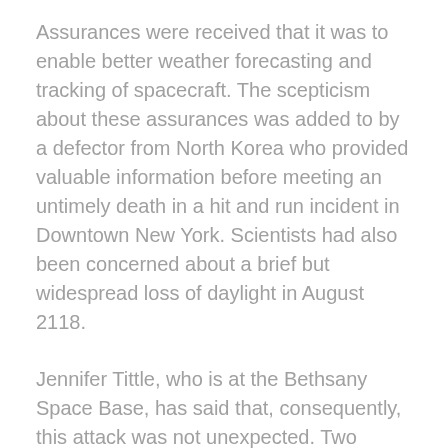Assurances were received that it was to enable better weather forecasting and tracking of spacecraft. The scepticism about these assurances was added to by a defector from North Korea who provided valuable information before meeting an untimely death in a hit and run incident in Downtown New York. Scientists had also been concerned about a brief but widespread loss of daylight in August 2118.
Jennifer Tittle, who is at the Bethsany Space Base, has said that, consequently, this attack was not unexpected. Two shuttle craft were on permanent alert and were launched when confirmation was received as to the source of the attack. They arrived in Wuhan eight minutes later. The two groups of special forces on arrival fired the propulsion buttons on their robocoptors and headed for the structure. Team 1 consisting of four specialists first paralysed the operators in the control unit with nerve gas and having removed cyphers and